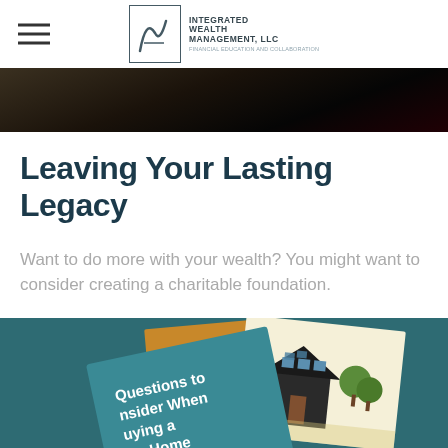Integrated Wealth Management, LLC — Financial Education and Collaboration
[Figure (photo): Dark close-up hero banner image, appears to show hands]
Leaving Your Lasting Legacy
Want to do more with your wealth? You might want to consider creating a charitable foundation.
[Figure (photo): Photo of brochures/booklets on a teal background, including one titled 'Questions to Consider When Buying a Vacation Home']